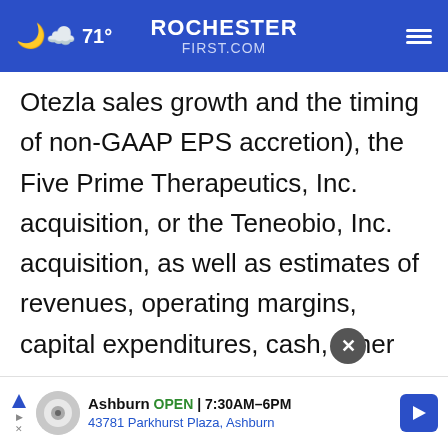71° ROCHESTER FIRST.COM
Otezla sales growth and the timing of non-GAAP EPS accretion), the Five Prime Therapeutics, Inc. acquisition, or the Teneobio, Inc. acquisition, as well as estimates of revenues, operating margins, capital expenditures, cash, other financial metrics, expected legal, arbitration, political, regulatory or clinical results or practices, customer and prescriber patterns or practices, reimbursement activities and outcomes, effects of pandemics or other wides
[Figure (screenshot): Advertisement banner for Tire Auto shop in Ashburn showing OPEN 7:30AM-6PM, 43781 Parkhurst Plaza, Ashburn]